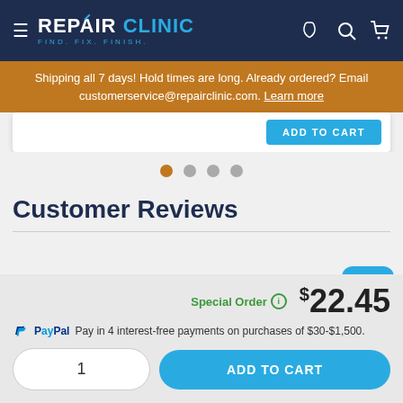REPAIR CLINIC — FIND. FIX. FINISH.
Shipping all 7 days! Hold times are long. Already ordered? Email customerservice@repairclinic.com. Learn more
[Figure (screenshot): Partial product card with ADD TO CART button in blue]
[Figure (other): Carousel pagination dots — 4 dots with first dot highlighted in orange]
Customer Reviews
[Figure (other): Blue chat bubble icon button]
Special Order  $22.45
PayPal  Pay in 4 interest-free payments on purchases of $30-$1,500.
1  ADD TO CART